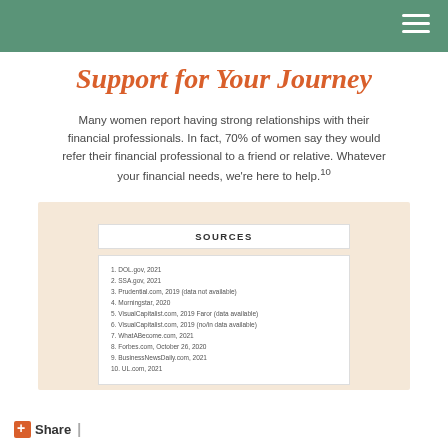Support for Your Journey
Many women report having strong relationships with their financial professionals. In fact, 70% of women say they would refer their financial professional to a friend or relative. Whatever your financial needs, we're here to help.10
SOURCES
1. DOL.gov, 2021
2. SSA.gov, 2021
3. Prudential.com, 2019 (data not available)
4. Morningstar, 2020
5. VisualCapitalist.com, 2019 Faror (data available)
6. VisualCapitalist.com, 2019 (no/in data available)
7. WhatABecome.com, 2021
8. Forbes.com, October 26, 2020
9. BusinessNewsDaily.com, 2021
10. UL.com, 2021
+ Share  |